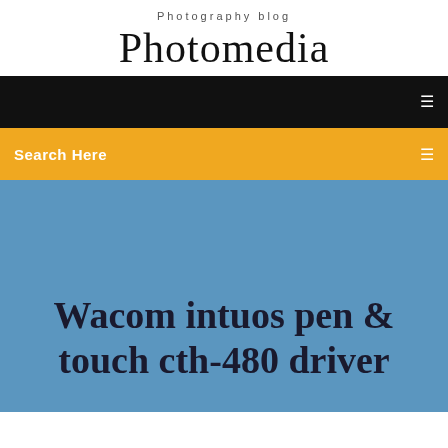Photography blog
Photomedia
[Figure (screenshot): Black navigation bar with a white menu icon on the right]
Search Here
Wacom intuos pen & touch cth-480 driver